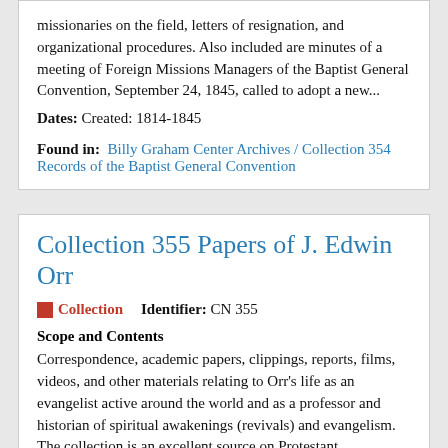missionaries on the field, letters of resignation, and organizational procedures. Also included are minutes of a meeting of Foreign Missions Managers of the Baptist General Convention, September 24, 1845, called to adopt a new...
Dates: Created: 1814-1845
Found in: Billy Graham Center Archives / Collection 354 Records of the Baptist General Convention
Collection 355 Papers of J. Edwin Orr
Collection   Identifier: CN 355
Scope and Contents
Correspondence, academic papers, clippings, reports, films, videos, and other materials relating to Orr's life as an evangelist active around the world and as a professor and historian of spiritual awakenings (revivals) and evangelism. The collection is an excellent source on Protestant Evangelicalism as a global movement in the